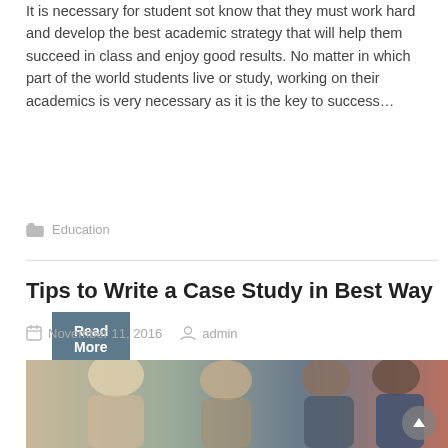It is necessary for student sot know that they must work hard and develop the best academic strategy that will help them succeed in class and enjoy good results. No matter in which part of the world students live or study, working on their academics is very necessary as it is the key to success…
Read More »
Education
Tips to Write a Case Study in Best Way
November 11, 2016   admin
[Figure (photo): Group of students studying together, looking at papers or a book, photographed from above at an angle.]